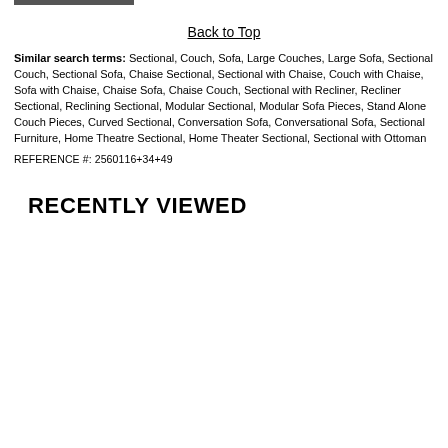Back to Top
Similar search terms: Sectional, Couch, Sofa, Large Couches, Large Sofa, Sectional Couch, Sectional Sofa, Chaise Sectional, Sectional with Chaise, Couch with Chaise, Sofa with Chaise, Chaise Sofa, Chaise Couch, Sectional with Recliner, Recliner Sectional, Reclining Sectional, Modular Sectional, Modular Sofa Pieces, Stand Alone Couch Pieces, Curved Sectional, Conversation Sofa, Conversational Sofa, Sectional Furniture, Home Theatre Sectional, Home Theater Sectional, Sectional with Ottoman
REFERENCE #: 2560116+34+49
RECENTLY VIEWED